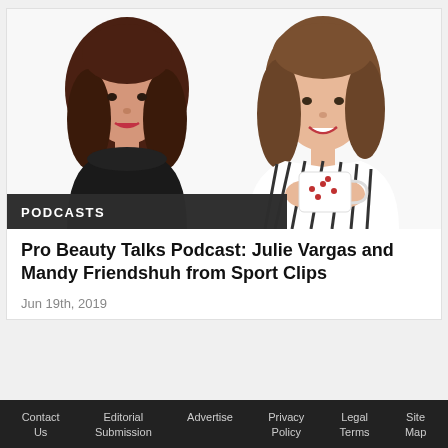[Figure (photo): Two women smiling against white background — one with dark hair in black outfit on left, one with light brown hair holding a white mug wearing a striped top on the right. A dark banner overlay at the bottom left reads PODCASTS.]
PODCASTS
Pro Beauty Talks Podcast: Julie Vargas and Mandy Friendshuh from Sport Clips
Jun 19th, 2019
Contact Us   Editorial Submission   Advertise   Privacy Policy   Legal Terms   Site Map